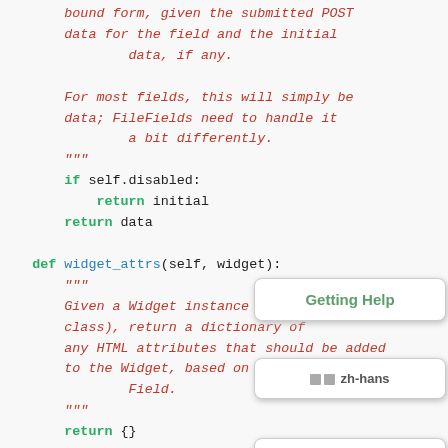bound form, given the submitted POST data for the field and the initial data, if any.

For most fields, this will simply be data; FileFields need to handle it a bit differently.
"""
if self.disabled:
    return initial
return data

def widget_attrs(self, widget):
    """
    Given a Widget instance (*not* a Widget class), return a dictionary of any HTML attributes that should be added to the Widget, based on this Field.
    """
    return {}
Getting Help
zh-hans
2.2